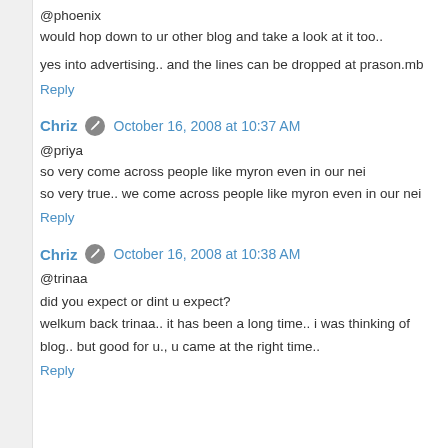@phoenix
would hop down to ur other blog and take a look at it too..
yes into advertising.. and the lines can be dropped at prason.mb
Reply
Chriz  October 16, 2008 at 10:37 AM
@priya
so very true.. we come across people like myron even in our nei
Reply
Chriz  October 16, 2008 at 10:38 AM
@trinaa

did you expect or dint u expect?
welkum back trinaa.. it has been a long time.. i was thinking of
blog.. but good for u., u came at the right time..
Reply